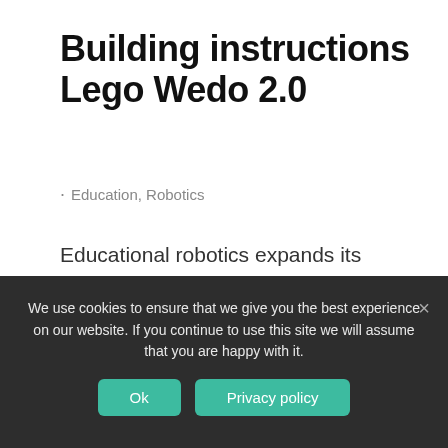Building instructions Lego Wedo 2.0
Education, Robotics
Educational robotics expands its boundaries, from the direction of additional education it is gradually moving to a new level, and is being a part of the main curricula. The secret of such success is simple - an integrated approach to
We use cookies to ensure that we give you the best experience on our website. If you continue to use this site we will assume that you are happy with it.